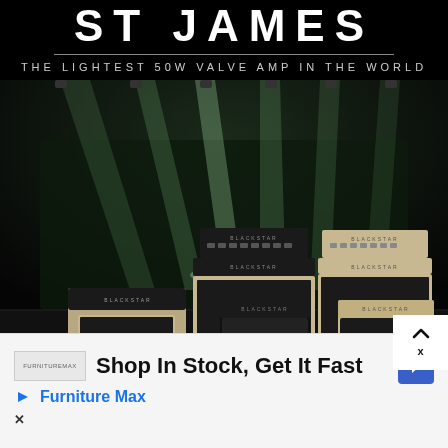ST JAMES
THE LIGHTEST 50W VALVE AMP IN THE WORLD
[Figure (photo): A stage scene with dramatic spotlights shining down from above. Multiple Blackstar guitar amplifiers are arranged on the stage floor, including amp heads with speaker cabinets in black and beige/tan tweed finish. The stage backdrop has a moody dark atmosphere with green-tinted light beams.]
Shop In Stock, Get It Fast
Furniture Max